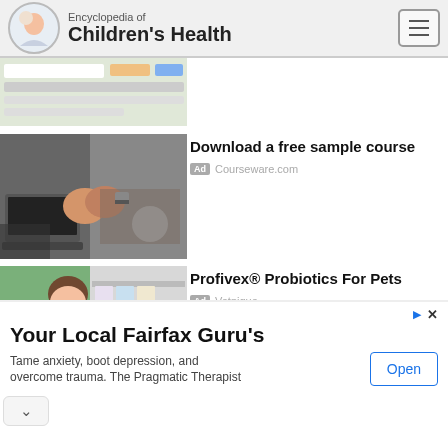Encyclopedia of Children's Health
[Figure (screenshot): Partial thumbnail of an educational/course-related website screenshot with notebook and icons]
[Figure (photo): People fist-bumping over laptops and work materials on a desk]
Download a free sample course
Ad Courseware.com
[Figure (photo): Veterinarian in blue scrubs giving treat to a golden dog in a clinic]
Profivex® Probiotics For Pets
Ad Vetnique
[Figure (photo): High-end shopping storefront with logo and signage]
A High-End Shopping Experience
Your Local Fairfax Guru's
Tame anxiety, boot depression, and overcome trauma. The Pragmatic Therapist
Open